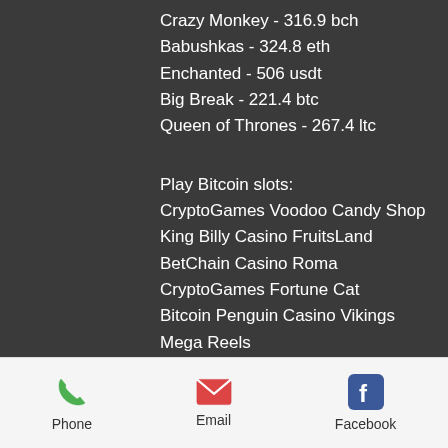Crazy Monkey - 316.9 bch
Babushkas - 324.8 eth
Enchanted - 506 usdt
Big Break - 221.4 btc
Queen of Thrones - 267.4 ltc
Play Bitcoin slots:
CryptoGames Voodoo Candy Shop
King Billy Casino FruitsLand
BetChain Casino Roma
CryptoGames Fortune Cat
Bitcoin Penguin Casino Vikings Mega Reels
mBit Casino Jingle Bells
BitcoinCasino.us Reely Poker
FortuneJack Casino Casino Royale
Bspin.io Casino Dark Thirst
Betchan Casino Fortunes of Sparta
Cloudbet Casino Beetle Star
Phone  Email  Facebook